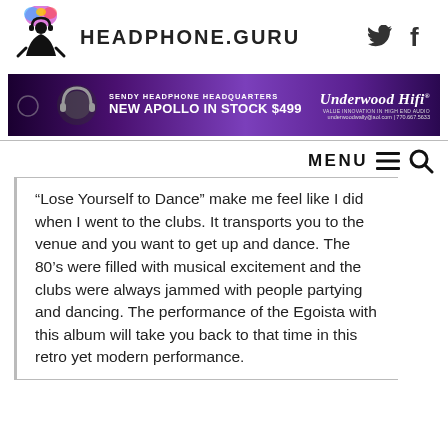HEADPHONE.GURU
[Figure (photo): Headphone.guru banner advertisement: SENDY HEADPHONE HEADQUARTERS, NEW APOLLO IN STOCK $499, Underwood HiFi, underwoodwally@aol.com | 770.667.5633]
MENU
“Lose Yourself to Dance” make me feel like I did when I went to the clubs. It transports you to the venue and you want to get up and dance. The 80’s were filled with musical excitement and the clubs were always jammed with people partying and dancing. The performance of the Egoista with this album will take you back to that time in this retro yet modern performance.